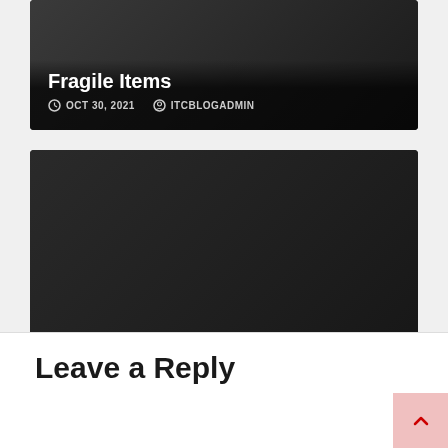[Figure (screenshot): Partial blog card at top with dark background showing title 'Fragile Items', date OCT 30, 2021, and author ITCBLOGADMIN]
[Figure (screenshot): Blog card with dark background showing BLOG badge, title 'Useful Packing Tips For The Kitchen appliances –', date OCT 30, 2021, author ITCBLOGADMIN]
Leave a Reply